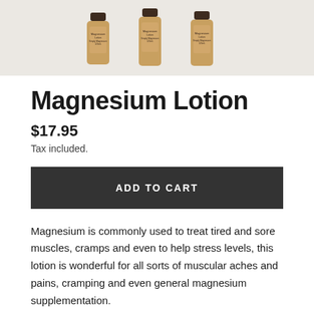[Figure (photo): Three amber glass bottles of Magnesium Lotion with kraft paper labels, shown partially at the top of the page on a light background]
Magnesium Lotion
$17.95
Tax included.
ADD TO CART
Magnesium is commonly used to treat tired and sore muscles, cramps and even to help stress levels, this lotion is wonderful for all sorts of muscular aches and pains, cramping and even general magnesium supplementation.